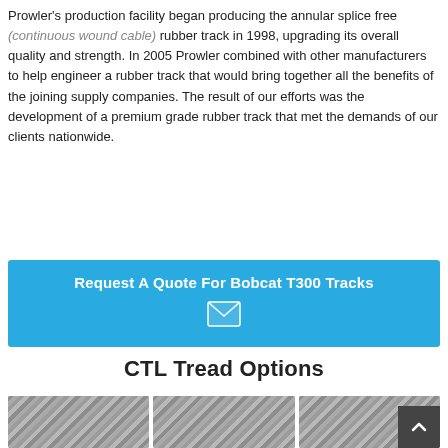Prowler's production facility began producing the annular splice free (continuous wound cable) rubber track in 1998, upgrading its overall quality and strength. In 2005 Prowler combined with other manufacturers to help engineer a rubber track that would bring together all the benefits of the joining supply companies. The result of our efforts was the development of a premium grade rubber track that met the demands of our clients nationwide.
Request A Quote For Bobcat T300 Tracks
CTL Tread Options
[Figure (photo): Three rubber track tread option images shown side by side at the bottom of the page]